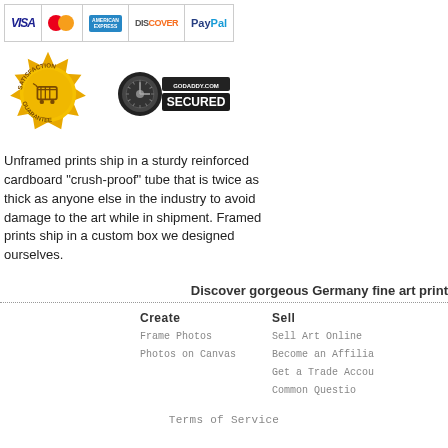[Figure (logo): Payment method icons: VISA, Mastercard, American Express, Discover, PayPal]
[Figure (logo): Satisfaction Guarantee badge (gold seal) and GoDaddy.com Secured badge]
Unframed prints ship in a sturdy reinforced cardboard "crush-proof" tube that is twice as thick as anyone else in the industry to avoid damage to the art while in shipment. Framed prints ship in a custom box we designed ourselves.
Discover gorgeous Germany fine art print
Create
Frame Photos
Photos on Canvas
Sell
Sell Art Online
Become an Affilia
Get a Trade Accou
Common Questio
Terms of Service